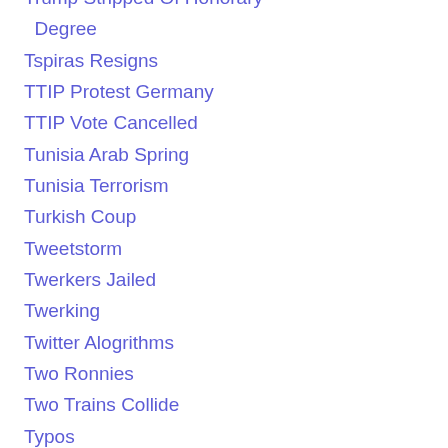Trump Stripped Of Honorary Degree
Tspiras Resigns
TTIP Protest Germany
TTIP Vote Cancelled
Tunisia Arab Spring
Tunisia Terrorism
Turkish Coup
Tweetstorm
Twerkers Jailed
Twerking
Twitter Alogrithms
Two Ronnies
Two Trains Collide
Typos
UK Crime
UK Dragonfire